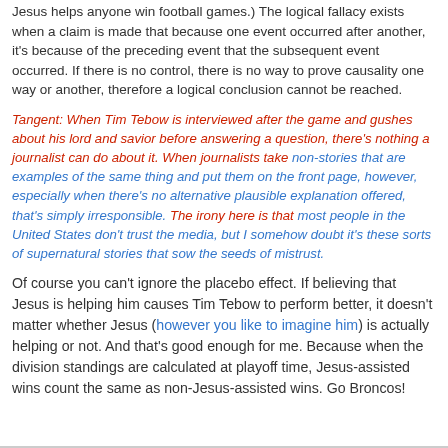Jesus helps anyone win football games.) The logical fallacy exists when a claim is made that because one event occurred after another, it's because of the preceding event that the subsequent event occurred. If there is no control, there is no way to prove causality one way or another, therefore a logical conclusion cannot be reached.
Tangent: When Tim Tebow is interviewed after the game and gushes about his lord and savior before answering a question, there's nothing a journalist can do about it. When journalists take non-stories that are examples of the same thing and put them on the front page, however, especially when there's no alternative plausible explanation offered, that's simply irresponsible. The irony here is that most people in the United States don't trust the media, but I somehow doubt it's these sorts of supernatural stories that sow the seeds of mistrust.
Of course you can't ignore the placebo effect. If believing that Jesus is helping him causes Tim Tebow to perform better, it doesn't matter whether Jesus (however you like to imagine him) is actually helping or not. And that's good enough for me. Because when the division standings are calculated at playoff time, Jesus-assisted wins count the same as non-Jesus-assisted wins. Go Broncos!